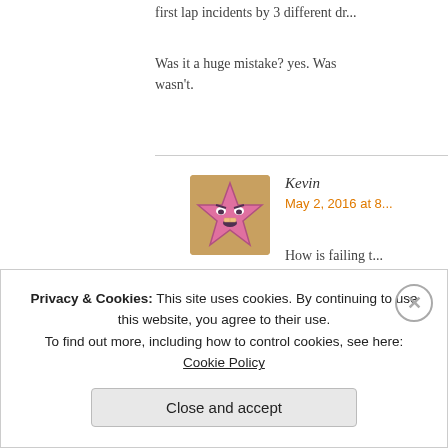first lap incidents by 3 different dr...
Was it a huge mistake? yes. Was... wasn't.
Kevin
May 2, 2016 at 8...
How is failing t... postage stamp... worse than mi...
[Figure (illustration): Pink spiky star character avatar with angry expression]
J. Musser
May 2, 2016 at 3:36 pm
[Figure (illustration): Pink robot/monster character avatar with big teeth]
Privacy & Cookies: This site uses cookies. By continuing to use this website, you agree to their use. To find out more, including how to control cookies, see here: Cookie Policy
Close and accept